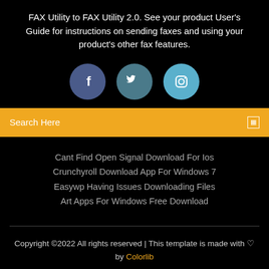FAX Utility to FAX Utility 2.0. See your product User's Guide for instructions on sending faxes and using your product's other fax features.
[Figure (illustration): Three social media icon circles: Facebook (dark blue-purple), Twitter (teal-blue), Instagram (light blue)]
Search Here
Cant Find Open Signal Download For Ios
Crunchyroll Download App For Windows 7
Easywp Having Issues Downloading Files
Art Apps For Windows Free Download
Copyright ©2022 All rights reserved | This template is made with ♡ by Colorlib